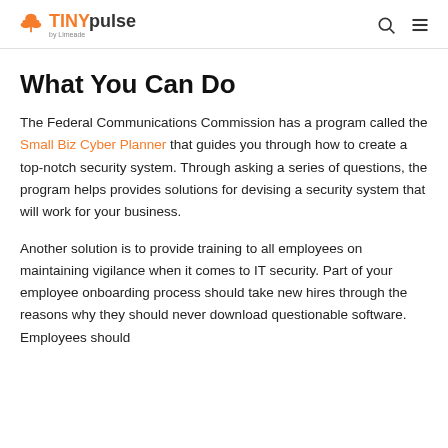TINYpulse by Limeade
What You Can Do
The Federal Communications Commission has a program called the Small Biz Cyber Planner that guides you through how to create a top-notch security system. Through asking a series of questions, the program helps provides solutions for devising a security system that will work for your business.
Another solution is to provide training to all employees on maintaining vigilance when it comes to IT security. Part of your employee onboarding process should take new hires through the reasons why they should never download questionable software. Employees should